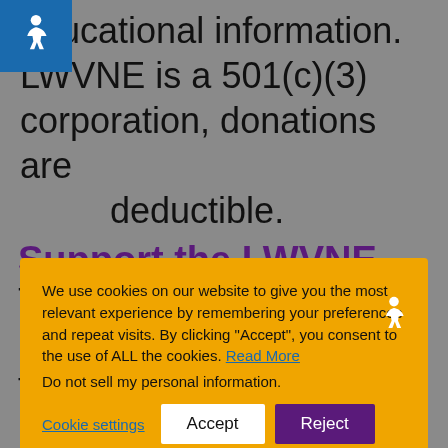educational information. LWVNE is a 501(c)(3) corporation, donations are deductible.
[Figure (other): Accessibility wheelchair icon in blue square, top left]
We use cookies on our website to give you the most relevant experience by remembering your preferences and repeat visits. By clicking “Accept”, you consent to the use of ALL the cookies. Read More
Do not sell my personal information.
Cookie settings  Accept  Reject
[Figure (other): Accessibility wheelchair icon in white, inside cookie banner, bottom right]
Support the LWVNE Endowment Fund
This fund supports the long range financial health of the state League